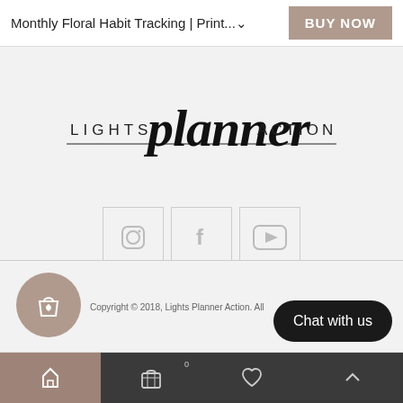Monthly Floral Habit Tracking | Print...
[Figure (logo): Lights Planner Action logo with script 'planner' text in the center]
[Figure (infographic): Three social media icon boxes: Instagram, Facebook, YouTube]
ABOUT US  BLOG  FAQ  SHOP POLICIES  PLANNERS 101  CONTACT US
Copyright © 2018, Lights Planner Action. All rights reserved.
Chat with us